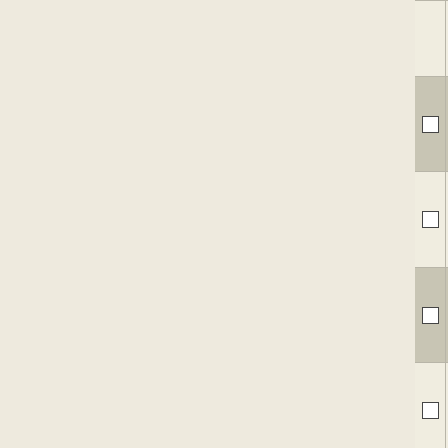|  | NC Accession | Gene | Description |
| --- | --- | --- | --- |
|  |  |  | 3-oxoacyl-(acyl-carrier-protein) reductase |
| ☐ | NC_013170 | Ccur_11130 | 3-oxoacyl-(acyl-carrier-protein) reductase |
| ☐ | NC_009654 | Mmwyl1_2132 | 3-oxoacyl-(acyl-carrier-protein) reductase |
| ☐ | NC_008025 | Dgeo_0435 | 3-oxoacyl-(acyl-carrier-protein) reductase |
| ☐ | NC_003910 | CPS_2297 | 3-oxoacyl-(acyl-carrier-protein) reductase |
| ☐ | NC_010506 | Swoo_2042 | 3-oxoacyl-(acyl-carrier-protein) reductase |
| ☐ | NC_008527 | LACR_0824 | 3-ketoacyl-(acyl-carrier- |